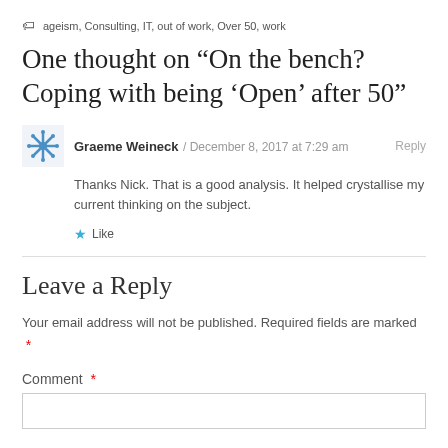ageism, Consulting, IT, out of work, Over 50, work
One thought on “On the bench? Coping with being ‘Open’ after 50”
Graeme Weineck / December 8, 2017 at 7:29 am   Reply
Thanks Nick. That is a good analysis. It helped crystallise my current thinking on the subject.
★ Like
Leave a Reply
Your email address will not be published. Required fields are marked  *
Comment  *